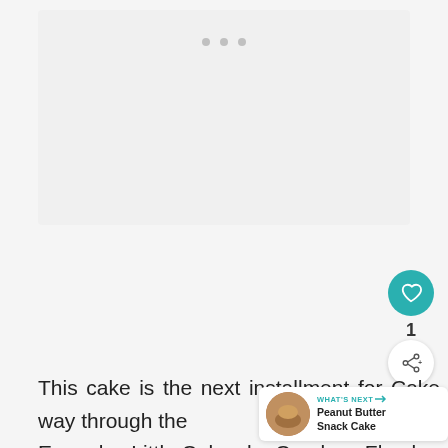[Figure (photo): Large image placeholder with three navigation dots at the top center, light gray background]
This cake is the next installment for Cake Slice Bakers We are baking our way through the Everyday Little Cakes by Candace Floyd.
[Figure (infographic): WHAT'S NEXT -> Peanut Butter Snack Cake widget with thumbnail]